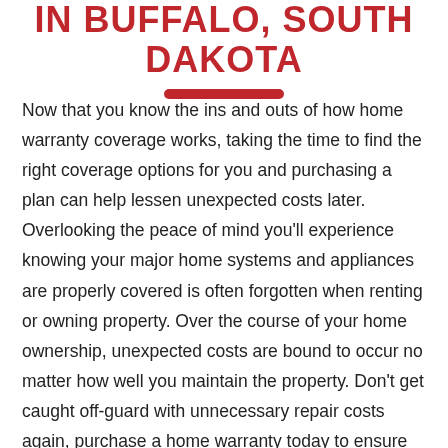IN BUFFALO, SOUTH DAKOTA
Now that you know the ins and outs of how home warranty coverage works, taking the time to find the right coverage options for you and purchasing a plan can help lessen unexpected costs later. Overlooking the peace of mind you'll experience knowing your major home systems and appliances are properly covered is often forgotten when renting or owning property. Over the course of your home ownership, unexpected costs are bound to occur no matter how well you maintain the property. Don't get caught off-guard with unnecessary repair costs again, purchase a home warranty today to ensure optimal